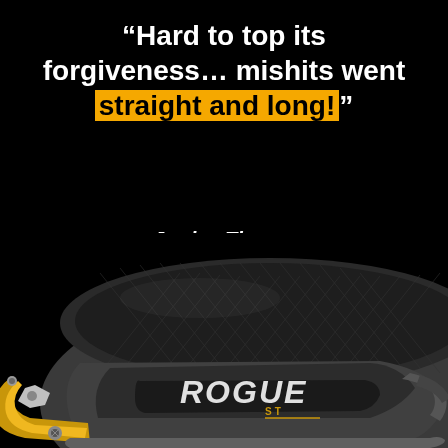“Hard to top its forgiveness… mishits went straight and long!”
-Jordan Thomas, Equipment Editor, PRO GOLF WEEKLY
[Figure (photo): Close-up photo of a Callaway Rogue ST golf driver head, showing carbon fiber texture on top, gold and silver accents, and the Rogue ST logo on the face]